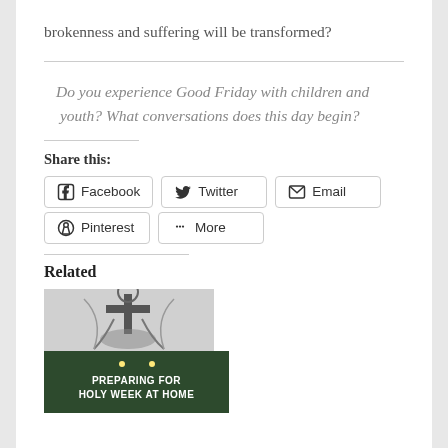brokenness and suffering will be transformed?
Do you experience Good Friday with children and youth? What conversations does this day begin?
Share this:
Facebook  Twitter  Email  Pinterest  More
Related
[Figure (photo): Black and white illustration of a figure at a cross]
[Figure (photo): Dark green bokeh background with text: PREPARING FOR HOLY WEEK AT HOME]